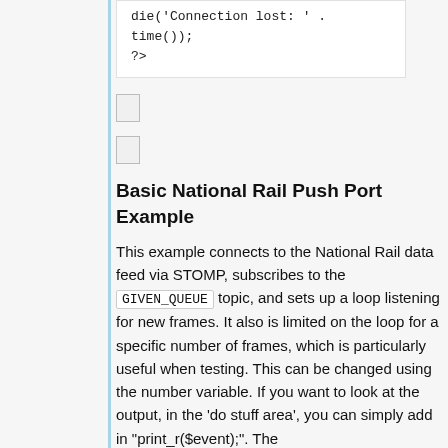[Figure (screenshot): Code block showing PHP snippet: die('Connection lost: ' . time()); ?>]
[Figure (other): Two small icon/button boxes]
Basic National Rail Push Port Example
This example connects to the National Rail data feed via STOMP, subscribes to the GIVEN_QUEUE topic, and sets up a loop listening for new frames. It also is limited on the loop for a specific number of frames, which is particularly useful when testing. This can be changed using the number variable. If you want to look at the output, in the 'do stuff area', you can simply add in "print_r($event);". The function also brings back available